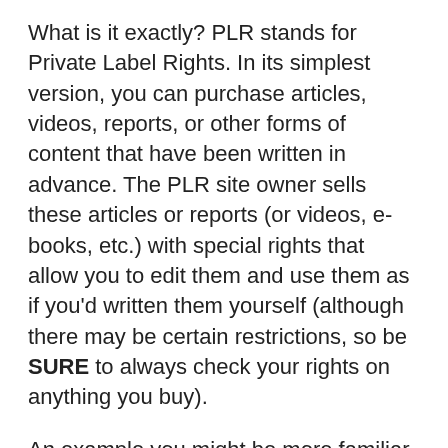What is it exactly? PLR stands for Private Label Rights. In its simplest version, you can purchase articles, videos, reports, or other forms of content that have been written in advance. The PLR site owner sells these articles or reports (or videos, e-books, etc.) with special rights that allow you to edit them and use them as if you'd written them yourself (although there may be certain restrictions, so be SURE to always check your rights on anything you buy).
An example you might be more familiar with, is Private Label Rights in physical items. For example, you may buy a large quantity of a